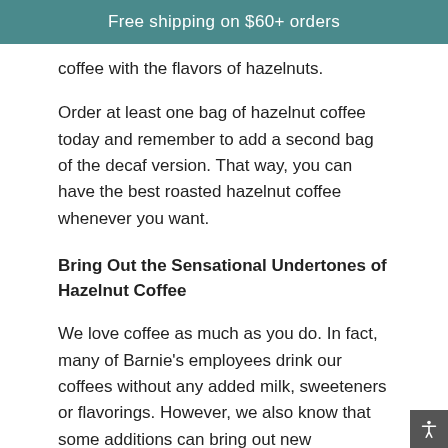Free shipping on $60+ orders
coffee with the flavors of hazelnuts.
Order at least one bag of hazelnut coffee today and remember to add a second bag of the decaf version. That way, you can have the best roasted hazelnut coffee whenever you want.
Bring Out the Sensational Undertones of Hazelnut Coffee
We love coffee as much as you do. In fact, many of Barnie's employees drink our coffees without any added milk, sweeteners or flavorings. However, we also know that some additions can bring out new undertones in any brew.
If you get in the mood to experiment with your